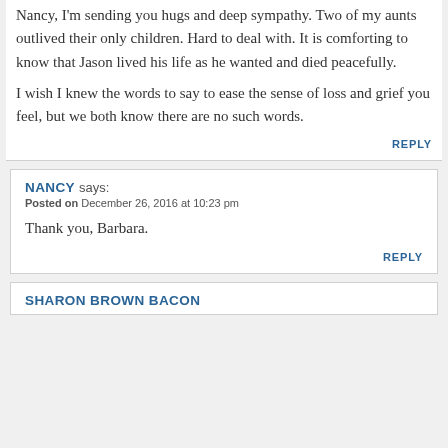Nancy, I'm sending you hugs and deep sympathy. Two of my aunts outlived their only children. Hard to deal with. It is comforting to know that Jason lived his life as he wanted and died peacefully.
I wish I knew the words to say to ease the sense of loss and grief you feel, but we both know there are no such words.
REPLY
NANCY says: Posted on December 26, 2016 at 10:23 pm
Thank you, Barbara.
REPLY
SHARON BROWN BACON